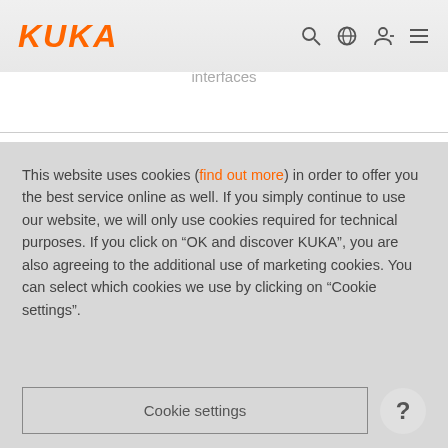KUKA
interfaces
This website uses cookies (find out more) in order to offer you the best service online as well. If you simply continue to use our website, we will only use cookies required for technical purposes. If you click on “OK and discover KUKA”, you are also agreeing to the additional use of marketing cookies. You can select which cookies we use by clicking on “Cookie settings”.
Cookie settings